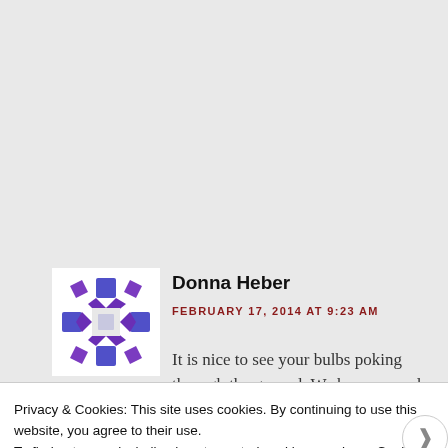[Figure (illustration): Gravatar/avatar icon with purple cross/snowflake pattern on white background]
Donna Heber
FEBRUARY 17, 2014 AT 9:23 AM
It is nice to see your bulbs poking through the ground. We have several months to go before I see any signs of spring. Your mosaics are very
Privacy & Cookies: This site uses cookies. By continuing to use this website, you agree to their use.
To find out more, including how to control cookies, see here: Cookie Policy
Close and accept